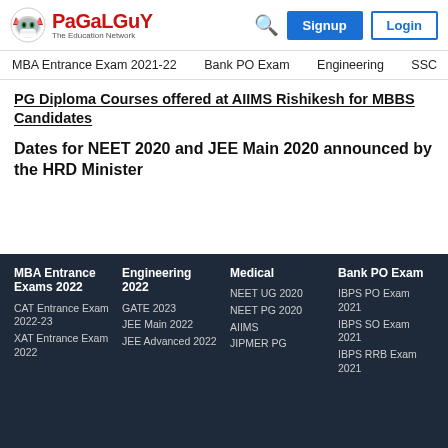PaGaLGuY The Education Network — Signup | Login
MBA Entrance Exam 2021-22   Bank PO Exam   Engineering   SSC
PG Diploma Courses offered at AIIMS Rishikesh for MBBS Candidates
Dates for NEET 2020 and JEE Main 2020 announced by the HRD Minister
MBA Entrance Exams 2022 | Engineering 2022 | Medical | Bank PO Exam
CAT Entrance Exam 2022-23
XAT Entrance Exam 2022
GATE 2023
JEE Main 2022
JEE Advanced 2022
NEET UG 2020
NEET PG 2020
AIIMS
JIPMER PG
IBPS PO Exam 2021
IBPS SO Exam 2021
IBPS RRB Exam 2021